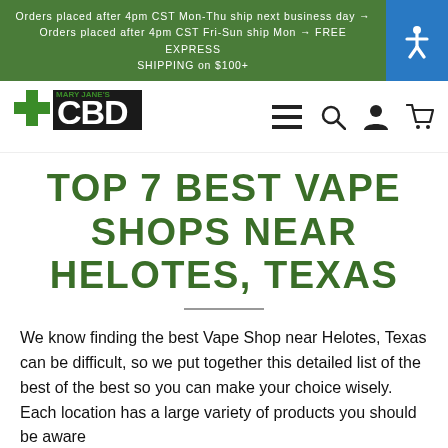Orders placed after 4pm CST Mon-Thu ship next business day → Orders placed after 4pm CST Fri-Sun ship Mon → FREE EXPRESS SHIPPING on $100+
[Figure (logo): Mary Jane's CBD Dispensary logo with green cross and bold CBD text]
TOP 7 BEST VAPE SHOPS NEAR HELOTES, TEXAS
We know finding the best Vape Shop near Helotes, Texas can be difficult, so we put together this detailed list of the best of the best so you can make your choice wisely. Each location has a large variety of products you should be aware